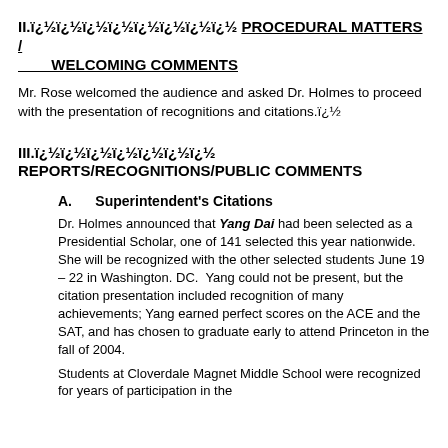II.ï¿½ï¿½ï¿½ï¿½ï¿½ï¿½ï¿½ï¿½ PROCEDURAL MATTERS / WELCOMING COMMENTS
Mr. Rose welcomed the audience and asked Dr. Holmes to proceed with the presentation of recognitions and citations.ï¿½
III.ï¿½ï¿½ï¿½ï¿½ï¿½ï¿½ï¿½ REPORTS/RECOGNITIONS/PUBLIC COMMENTS
A.   Superintendent's Citations
Dr. Holmes announced that Yang Dai had been selected as a Presidential Scholar, one of 141 selected this year nationwide.   She will be recognized with the other selected students June 19 – 22 in Washington. DC.  Yang could not be present, but the citation presentation included recognition of many achievements; Yang earned perfect scores on the ACE and the SAT, and has chosen to graduate early to attend Princeton in the fall of 2004.
Students at Cloverdale Magnet Middle School were recognized for years of participation in the